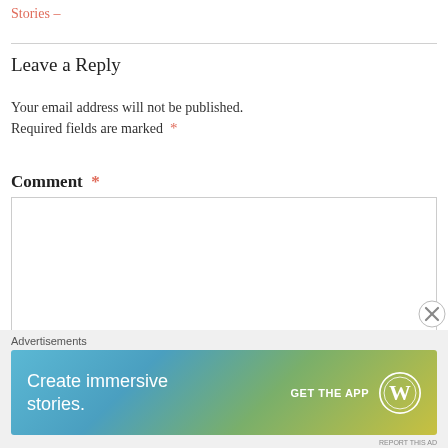Stories –
Leave a Reply
Your email address will not be published.
Required fields are marked *
Comment *
[Figure (screenshot): Empty comment text area input box with border]
[Figure (infographic): WordPress advertisement banner reading 'Create immersive stories.' with GET THE APP button and WordPress logo]
Advertisements
REPORT THIS AD